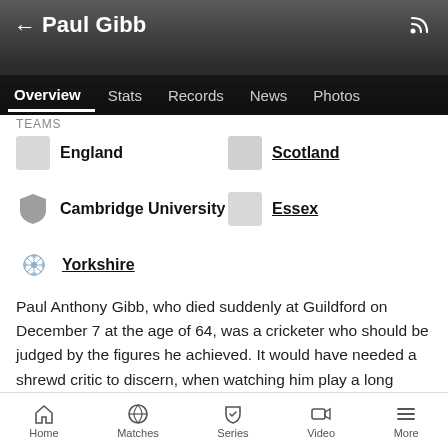Paul Gibb
Overview | Stats | Records | News | Photos
TEAMS
England
Scotland
Cambridge University
Essex
Yorkshire
Paul Anthony Gibb, who died suddenly at Guildford on December 7 at the age of 64, was a cricketer who should be judged by the figures he achieved. It would have needed a shrewd critic to discern, when watching him play a long innings, that he was more than a determined and solid University and County
Home | Matches | Series | Video | More